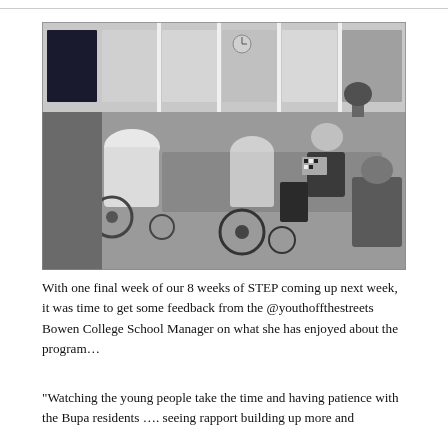[Figure (photo): Black and white photograph of elderly residents in wheelchairs and young people sitting around a table in what appears to be a care home or community space. Large windows visible in the background.]
With one final week of our 8 weeks of STEP coming up next week, it was time to get some feedback from the @youthoffthestreets Bowen College School Manager on what she has enjoyed about the program…
“Watching the young people take the time and having patience with the Bupa residents …. seeing rapport building up more and